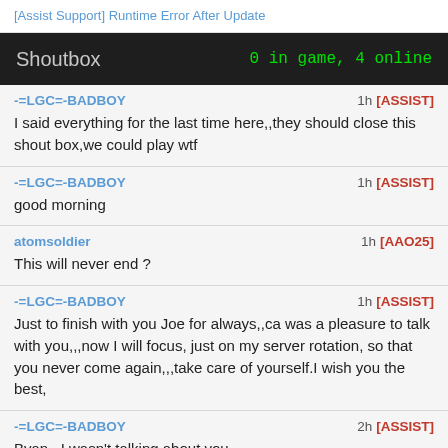[Assist Support] Runtime Error After Update
Shoutbox   0 in game, 4 online
-=LGC=-BADBOY  1h [ASSIST]
I said everything for the last time here,,they should close this shout box,we could play wtf
-=LGC=-BADBOY  1h [ASSIST]
good morning
atomsoldier  1h [AAO25]
This will never end ?
-=LGC=-BADBOY  1h [ASSIST]
Just to finish with you Joe for always,,ca was a pleasure to talk with you,,,now I will focus, just on my server rotation, so that you never come again,,,take care of yourself.I wish you the best,
-=LGC=-BADBOY  2h [ASSIST]
Byan...I wasn't talking about you...